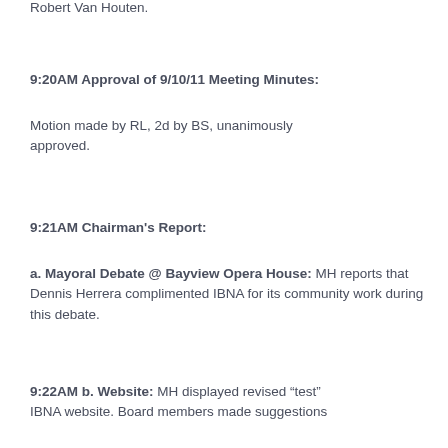Robert Van Houten.
9:20AM Approval of 9/10/11 Meeting Minutes:
Motion made by RL, 2d by BS, unanimously approved.
9:21AM Chairman's Report:
a. Mayoral Debate @ Bayview Opera House: MH reports that Dennis Herrera complimented IBNA for its community work during this debate.
9:22AM b. Website: MH displayed revised “test” IBNA website. Board members made suggestions